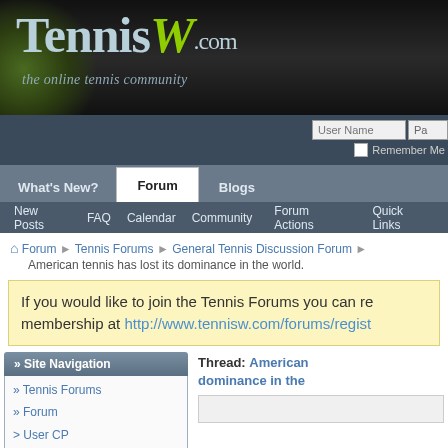[Figure (screenshot): TennisW.com website header banner with logo on dark background]
[Figure (screenshot): Login bar with User Name and Password fields and Remember Me checkbox]
[Figure (screenshot): Navigation tabs: What's New?, Forum (active), Blogs]
[Figure (screenshot): Secondary navigation bar: New Posts, FAQ, Calendar, Community, Forum Actions, Quick Links]
Forum » Tennis Forums » General Tennis Discussion Forum »
American tennis has lost its dominance in the world.
If you would like to join the Tennis Forums you can re membership at http://www.tennisw.com/forums/regist
» Site Navigation
» Tennis Forums
» Forum
> User CP
> FAQ
Thread: American dominance in the